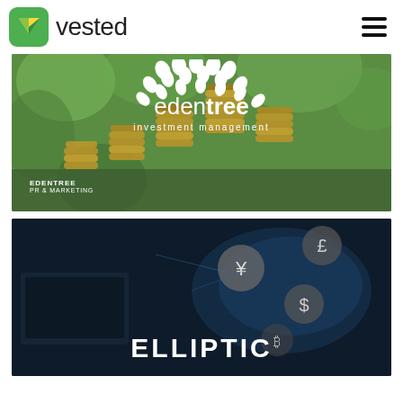vested
[Figure (photo): EdenTree Investment Management promotional card with stacked gold coins on green bokeh background, white leaf pattern logo and text 'edentree investment management', with label 'EDENTREE PR & MARKETING' at bottom left]
[Figure (photo): Elliptic company card with dark navy background showing global finance icons (currency symbols £, ¥, $), a world map overlay, and the text 'ELLIPTIC' in large white block letters at the bottom]